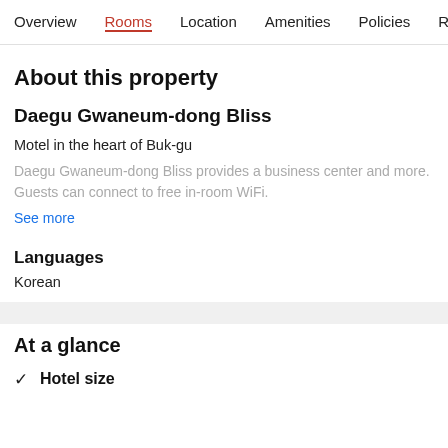Overview  Rooms  Location  Amenities  Policies  Reviews
About this property
Daegu Gwaneum-dong Bliss
Motel in the heart of Buk-gu
Daegu Gwaneum-dong Bliss provides a business center and more. Guests can connect to free in-room WiFi.
See more
Languages
Korean
At a glance
✓  Hotel size